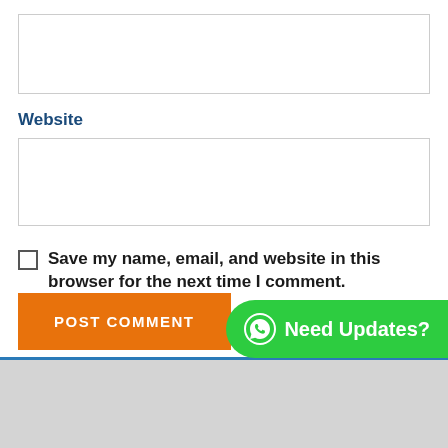[Figure (screenshot): Empty text input box at top of form]
Website
[Figure (screenshot): Empty website input box]
Save my name, email, and website in this browser for the next time I comment.
Notify me of follow-up comments by email.
Notify me of new posts by email.
[Figure (infographic): WhatsApp green bubble with text 'Need Updates?']
POST COMMENT